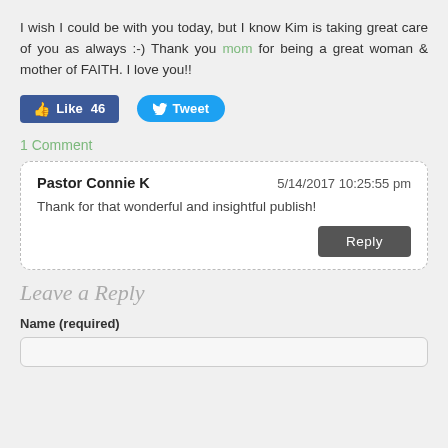I wish I could be with you today, but I know Kim is taking great care of you as always :-) Thank you mom for being a great woman & mother of FAITH. I love you!!
[Figure (screenshot): Social media Like (46) and Tweet buttons]
1 Comment
Pastor Connie K   5/14/2017 10:25:55 pm
Thank for that wonderful and insightful publish!
Leave a Reply
Name (required)